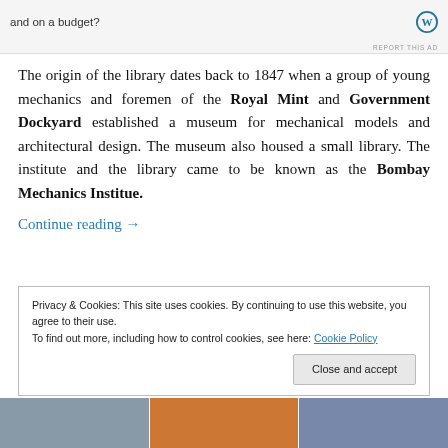[Figure (screenshot): Ad banner with text 'and on a budget?' and a WordPress logo, with 'REPORT THIS AD' label]
The origin of the library dates back to 1847 when a group of young mechanics and foremen of the Royal Mint and Government Dockyard established a museum for mechanical models and architectural design. The museum also housed a small library. The institute and the library came to be known as the Bombay Mechanics Institue.
Continue reading →
Privacy & Cookies: This site uses cookies. By continuing to use this website, you agree to their use.
To find out more, including how to control cookies, see here: Cookie Policy
[Figure (screenshot): Three thumbnail images at the bottom of the page]